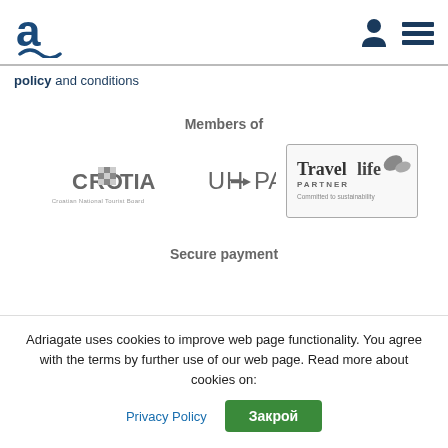Adriagate logo, user icon, menu icon
policy and conditions
Members of
[Figure (logo): Croatia National Tourist Board logo]
[Figure (logo): UHPA logo]
[Figure (logo): Travelife Partner - Committed to sustainability logo]
Secure payment
Adriagate uses cookies to improve web page functionality. You agree with the terms by further use of our web page. Read more about cookies on:
Privacy Policy  Закрой